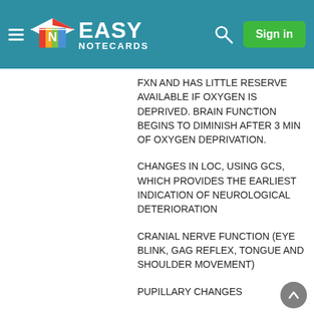Easy Notecards — Sign in
FXN AND HAS LITTLE RESERVE AVAILABLE IF OXYGEN IS DEPRIVED. BRAIN FUNCTION BEGINS TO DIMINISH AFTER 3 MIN OF OXYGEN DEPRIVATION.
CHANGES IN LOC, USING GCS, WHICH PROVIDES THE EARLIEST INDICATION OF NEUROLOGICAL DETERIORATION
CRANIAL NERVE FUNCTION (EYE BLINK, GAG REFLEX, TONGUE AND SHOULDER MOVEMENT)
PUPILLARY CHANGES